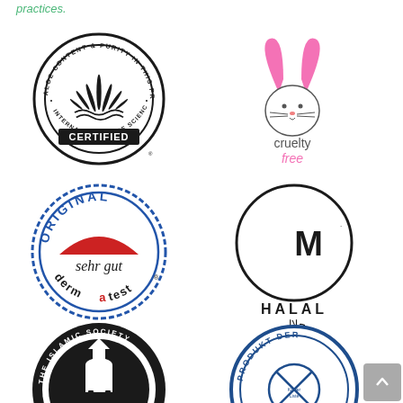practices.
[Figure (logo): IASC (International Aloe Science Council) Certified seal — circular black and white badge with aloe plant illustration and text 'ALOE CONTENT & PURITY IN THIS PRODUCT • CERTIFIED • INTERNATIONAL ALOE SCIENCE COUNCIL']
[Figure (logo): Cruelty Free logo — pink bunny rabbit ears forming a heart shape above a bunny face, text 'cruelty free' in gray and pink]
[Figure (logo): Dermatest Original Sehr Gut seal — circular blue border badge with red sun/arc shape, italic script 'sehr gut', and 'dermatest' text with red 'm']
[Figure (logo): Halal M certification logo — crescent moon shape forming the M letter inside a circle, text 'HALAL' below with Arabic script حلال]
[Figure (logo): The Islamic Society certification seal — circular black badge with mosque/minaret illustration, text 'THE ISLAMIC SOCIETY' and years '1978 1997']
[Figure (logo): Produkt der Engag... Sport circular badge — blue circular seal with crossed-out icon and text 'PRODUKT DER ENGAG... SPORT']